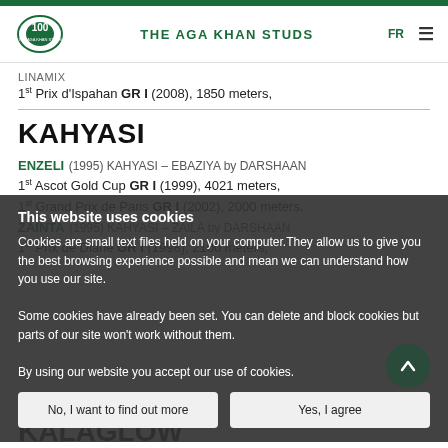THE AGA KHAN STUDS
LINAMIX
1st Prix d'Ispahan GR I (2008), 1850 meters,
KAHYASI
ENZELI (1995) KAHYASI – EBAZIYA by DARSHAAN
1st Ascot Gold Cup GR I (1999), 4021 meters,
1st Grand Prix de Paris GR I (2002), 2000 meters,
ZAINTA (1995) KAHYASI – ZAILA by DARSHAAN
1st Prix de Diane GR I (1998), 2100 meters,
KALAGLOW
This website uses cookies
Cookies are small text files held on your computer. They allow us to give you the best browsing experience possible and mean we can understand how you use our site.
Some cookies have already been set. You can delete and block cookies but parts of our site won't work without them.
By using our website you accept our use of cookies.